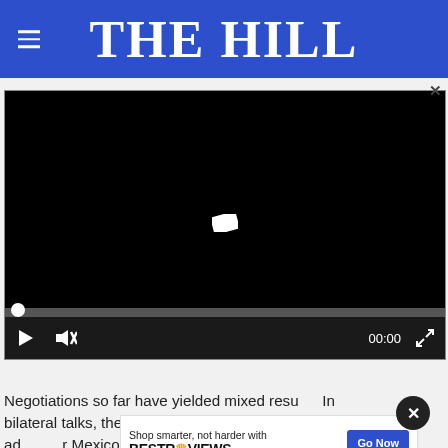THE HILL
[Figure (screenshot): Embedded video player with black frame, progress bar, play button, mute button, timestamp 00:00, and fullscreen icon on dark controls bar.]
Negotiations so far have yielded mixed resu... In bilateral talks, the United States and Mexico agreed to add... Mexico... oting
[Figure (infographic): BestReviews advertisement banner: 'Shop smarter, not harder with BESTREVIEWS' with a 'Go Now' blue button.]